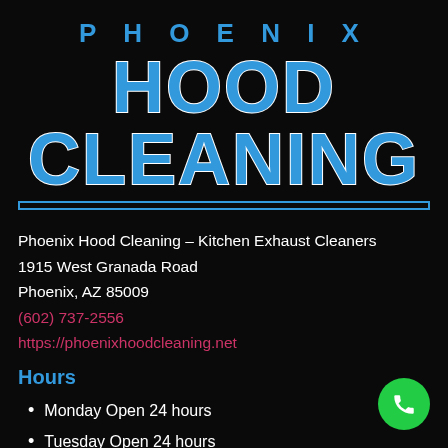PHOENIX HOOD CLEANING
Phoenix Hood Cleaning – Kitchen Exhaust Cleaners
1915 West Granada Road
Phoenix, AZ 85009
(602) 737-2556
https://phoenixhoodcleaning.net
Hours
Monday Open 24 hours
Tuesday Open 24 hours
Wednesday Open 24 hours
[Figure (illustration): Green circle call button with white phone icon]